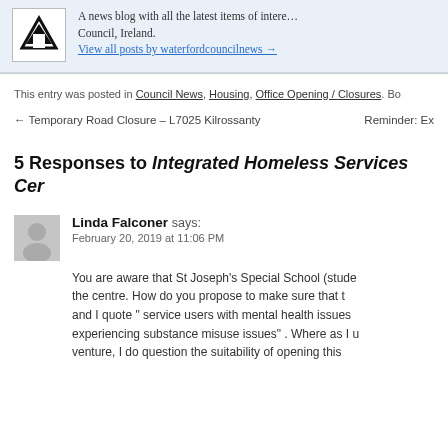[Figure (logo): Waterford Council logo — black W on white background in a bordered box]
A news blog with all the latest items of interest from Waterford Council, Ireland. View all posts by waterfordcouncilnews →
This entry was posted in Council News, Housing, Office Opening/Closures. Bo
← Temporary Road Closure – L7025 Kilrossanty
Reminder: Ex
5 Responses to Integrated Homeless Services Cen
[Figure (illustration): Generic grey avatar placeholder for commenter Linda Falconer]
Linda Falconer says:
February 20, 2019 at 11:06 PM
You are aware that St Joseph's Special School (stude the centre. How do you propose to make sure that t and I quote " service users with mental health issues experiencing substance misuse issues" . Where as I u venture, I do question the suitability of opening this